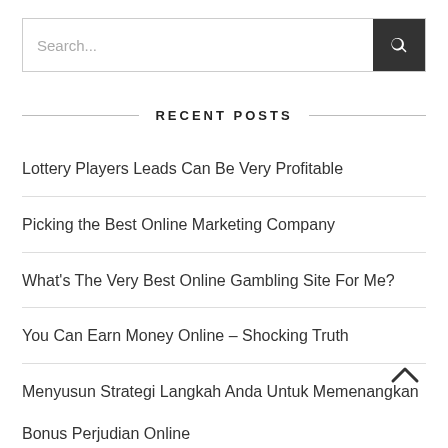Search...
RECENT POSTS
Lottery Players Leads Can Be Very Profitable
Picking the Best Online Marketing Company
What's The Very Best Online Gambling Site For Me?
You Can Earn Money Online – Shocking Truth
Menyusun Strategi Langkah Anda Untuk Memenangkan Bonus Perjudian Online